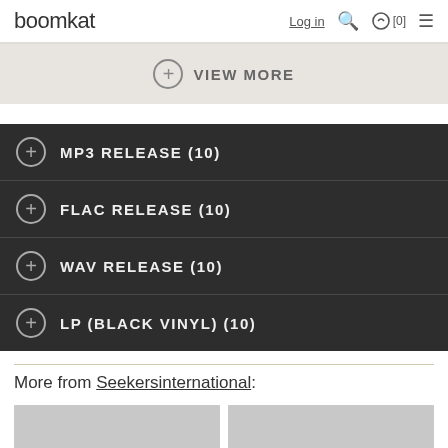boomkat  Log in  [0]
+ VIEW MORE
+ MP3 RELEASE (10)
+ FLAC RELEASE (10)
+ WAV RELEASE (10)
+ LP (BLACK VINYL) (10)
More from Seekersinternational:
[Figure (photo): Two album art thumbnail images (gray placeholder)]